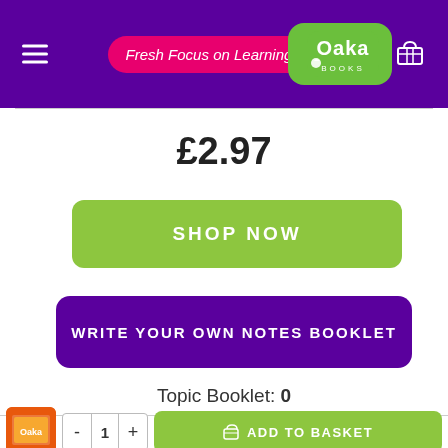[Figure (logo): Oaka Books logo with 'Fresh Focus on Learning' tagline in pink, green rounded square logo, hamburger menu and basket icon on purple header]
£2.97
SHOP NOW
WRITE YOUR OWN NOTES BOOKLET
Topic Booklet: 0
[Figure (illustration): Small orange book thumbnail]
- 1 +  ADD TO BASKET